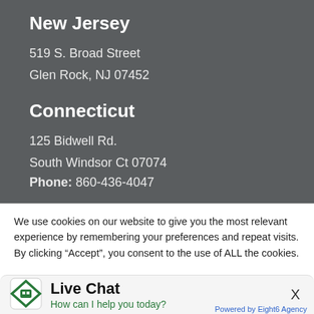New Jersey
519 S. Broad Street
Glen Rock, NJ 07452
Connecticut
125 Bidwell Rd.
South Windsor Ct 07074
Phone: 860-436-4047
We use cookies on our website to give you the most relevant experience by remembering your preferences and repeat visits. By clicking “Accept”, you consent to the use of ALL the cookies.
Live Chat
How can I help you today?
Powered by Eight6 Agency